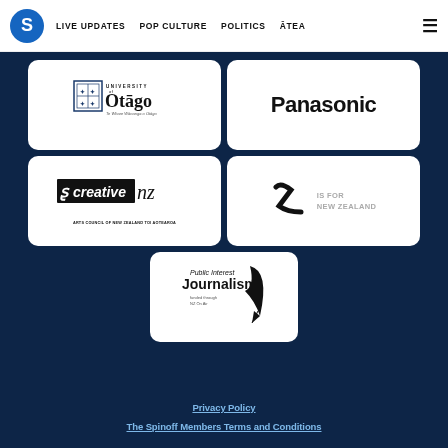S | LIVE UPDATES | POP CULTURE | POLITICS | ĀTEA | ☰
[Figure (logo): University of Otago logo with crest]
[Figure (logo): Panasonic logo]
[Figure (logo): Creative NZ Arts Council of New Zealand Toi Aotearoa logo]
[Figure (logo): Z Is For New Zealand logo]
[Figure (logo): Public Interest Journalism Fund logo]
Privacy Policy
The Spinoff Members Terms and Conditions